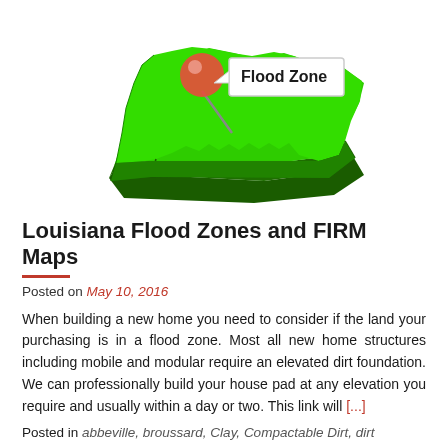[Figure (illustration): 3D isometric illustration of the state of Louisiana in green with a red map pin marker and a white callout box labeled 'Flood Zone']
Louisiana Flood Zones and FIRM Maps
Posted on May 10, 2016
When building a new home you need to consider if the land your purchasing is in a flood zone. Most all new home structures including mobile and modular require an elevated dirt foundation. We can professionally build your house pad at any elevation you require and usually within a day or two. This link will [...]
Posted in abbeville, broussard, Clay, Compactable Dirt, dirt